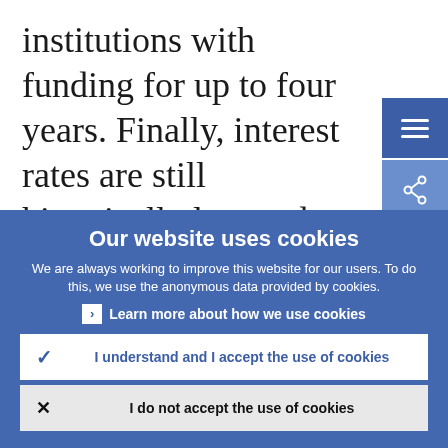institutions with funding for up to four years. Finally, interest rates are still historically low and will remain so for some months to come. A first hike around the middle of 2019 is not entirely out of the
Our website uses cookies
We are always working to improve this website for our users. To do this, we use the anonymous data provided by cookies.
Learn more about how we use cookies
I understand and I accept the use of cookies
I do not accept the use of cookies